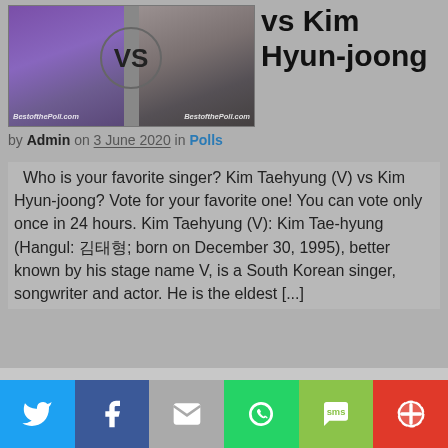[Figure (photo): Two K-pop singers side by side with a VS logo between them, watermarked with BestofthePoll.com]
vs Kim Hyun-joong
by Admin on 3 June 2020 in Polls
Who is your favorite singer? Kim Taehyung (V) vs Kim Hyun-joong? Vote for your favorite one! You can vote only once in 24 hours. Kim Taehyung (V): Kim Tae-hyung (Hangul: 김태형; born on December 30, 1995), better known by his stage name V, is a South Korean singer, songwriter and actor. He is the eldest [...]
We use cookies on our website to give you the most relevant experience by remembering your preferences and repeat visits. By clicking "Accept All", you consent to the use of ALL the cookies. However, you may visit "Cookie Settings" to provide a controlled consent.
[Figure (infographic): Social media sharing bar with Twitter, Facebook, Email, WhatsApp, SMS, and More buttons]